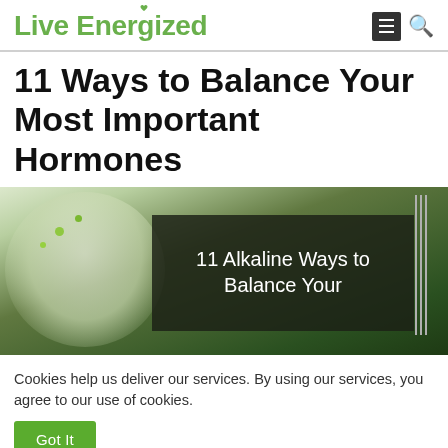Live Energized
11 Ways to Balance Your Most Important Hormones
[Figure (photo): Photo of a plate with green leafy vegetables and a fork, with a dark semi-transparent overlay showing the text '11 Alkaline Ways to Balance Your']
Cookies help us deliver our services. By using our services, you agree to our use of cookies.
Got It